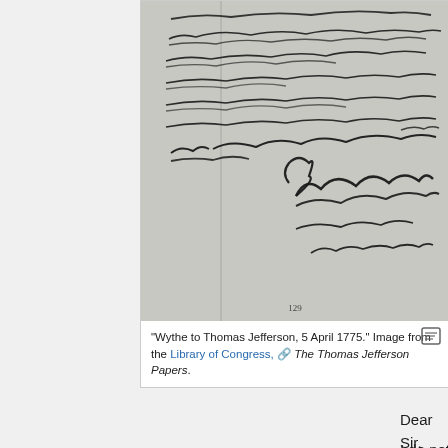[Figure (photo): Handwritten letter from Wythe to Thomas Jefferson, 5 April 1775, showing cursive script with signature 'G. Wythe', location 'Williamsburg', date '5 April, 1775'. Page number 129 visible at bottom. Image from the Library of Congress, The Thomas Jefferson Papers.]
"Wythe to Thomas Jefferson, 5 April 1775." Image from the Library of Congress, The Thomas Jefferson Papers.
Dear Sir,
I do not know that the terms on which the crown engaged to grant the lands in Virginia, are contained in